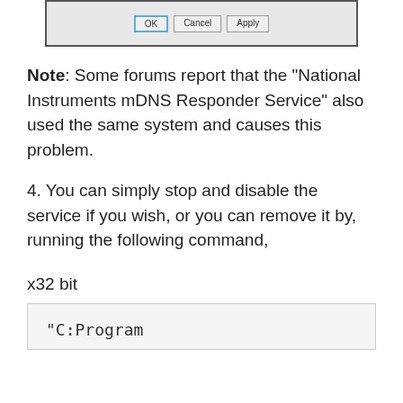[Figure (screenshot): Bottom of a dialog box showing OK, Cancel, and Apply buttons]
Note: Some forums report that the “National Instruments mDNS Responder Service” also used the same system and causes this problem.
4. You can simply stop and disable the service if you wish, or you can remove it by, running the following command,
x32 bit
“C:Program